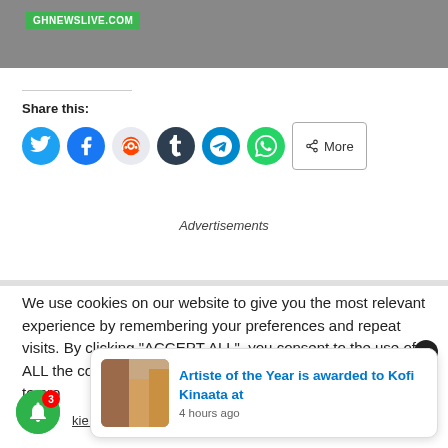[Figure (photo): Top portion of a news article image with GHNEWSLIVE.COM label on green background]
Share this:
[Figure (infographic): Row of social share buttons: Twitter, Facebook, Reddit, Tumblr, Telegram, WhatsApp, and a More button]
Advertisements
We use cookies on our website to give you the most relevant experience by remembering your preferences and repeat visits. By clicking "ACCEPT ALL", you consent to the use of ALL the cookies. However, you may visit "Cookie Settings" to pro
[Figure (screenshot): Notification popup showing article: Artiste of the Year is awarded to Kofi Kinaata at — 4 hours ago, with close X button and notification bell with badge 3]